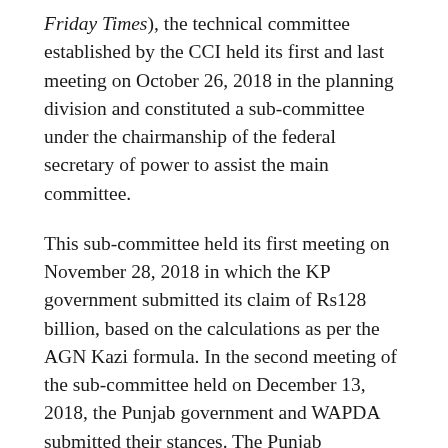Friday Times), the technical committee established by the CCI held its first and last meeting on October 26, 2018 in the planning division and constituted a sub-committee under the chairmanship of the federal secretary of power to assist the main committee.
This sub-committee held its first meeting on November 28, 2018 in which the KP government submitted its claim of Rs128 billion, based on the calculations as per the AGN Kazi formula. In the second meeting of the sub-committee held on December 13, 2018, the Punjab government and WAPDA submitted their stances. The Punjab government submitted its claim of Rs52 billion. The sub-committee held its third meeting on February 1, 2019 to finalise the issue and submitted its report to the main committee.
“The prime minister has also directed the technical committee on January 25, 2019 to submit its report in a